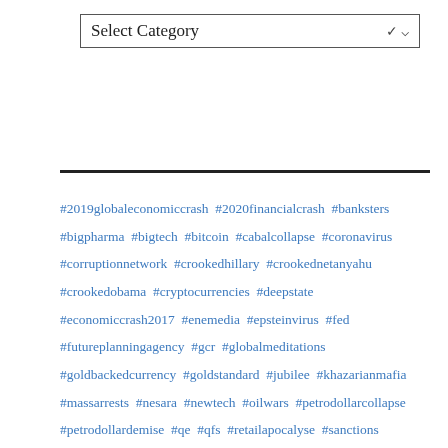[Figure (screenshot): A dropdown/select box with label 'Select Category' and a chevron arrow on the right]
#2019globaleconomiccrash #2020financialcrash #banksters #bigpharma #bigtech #bitcoin #cabalcollapse #coronavirus #corruptionnetwork #crookedhillary #crookednetanyahu #crookedobama #cryptocurrencies #deepstate #economiccrash2017 #enemedia #epsteinvirus #fed #futureplanningagency #gcr #globalmeditations #goldbackedcurrency #goldstandard #jubilee #khazarianmafia #massarrests #nesara #newtech #oilwars #petrodollarcollapse #petrodollardemise #qe #qfs #retailapocalyse #sanctions #sealedindictments #usainc #usnavyintel #vaccinehorror #wds #weatherwars #futureplanningagency #tradewars australia benjamin fulford Bitcoin china CJ TV cobra